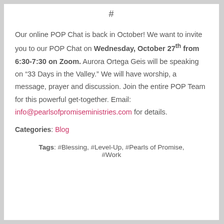#
Our online POP Chat is back in October! We want to invite you to our POP Chat on Wednesday, October 27th from 6:30-7:30 on Zoom. Aurora Ortega Geis will be speaking on “33 Days in the Valley.” We will have worship, a message, prayer and discussion. Join the entire POP Team for this powerful get-together. Email: info@pearlsofpromiseministries.com for details.
Categories: Blog
Tags: #Blessing, #Level-Up, #Pearls of Promise, #Work